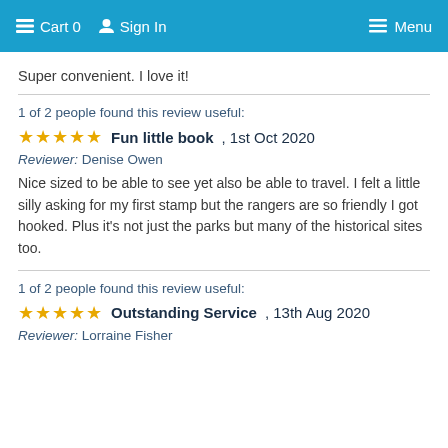Cart 0   Sign In   Menu
Super convenient. I love it!
1 of 2 people found this review useful:
Fun little book, 1st Oct 2020
Reviewer: Denise Owen
Nice sized to be able to see yet also be able to travel. I felt a little silly asking for my first stamp but the rangers are so friendly I got hooked. Plus it's not just the parks but many of the historical sites too.
1 of 2 people found this review useful:
Outstanding Service, 13th Aug 2020
Reviewer: Lorraine Fisher